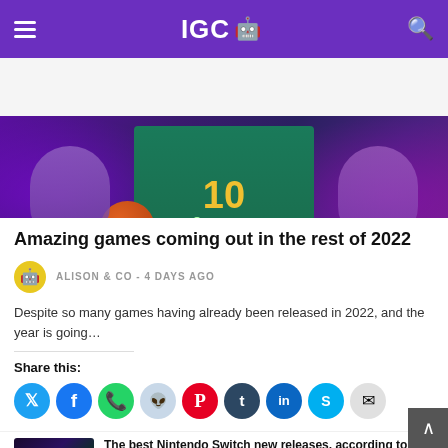IGC
[Figure (photo): Basketball player wearing a teal jersey with number 10 and Swedish sponsor logo, set against a purple-lit arena background with basketball visible]
Amazing games coming out in the rest of 2022
ALISON & CO - 4 DAYS AGO
Despite so many games having already been released in 2022, and the year is going…
Share this:
The best Nintendo Switch new releases, according to reviews
4 DAYS AGO
A selection of the best games with lore based in